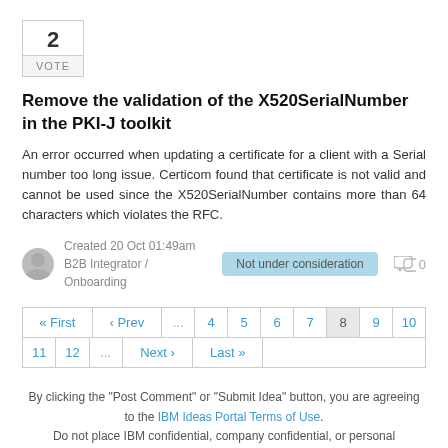[Figure (other): Vote button showing number 2 with VOTE label below in a bordered box]
Remove the validation of the X520SerialNumber in the PKI-J toolkit
An error occurred when updating a certificate for a client with a Serial number too long issue. Certicom found that certificate is not valid and cannot be used since the X520SerialNumber contains more than 64 characters which violates the RFC.
Created 20 Oct 01:49am
B2B Integrator / Onboarding
Not under consideration
0
Pagination: « First ‹ Prev ... 4 5 6 7 8 9 10 11 12 ... Next › Last »
By clicking the "Post Comment" or "Submit Idea" button, you are agreeing to the IBM Ideas Portal Terms of Use. Do not place IBM confidential, company confidential, or personal information into any field.